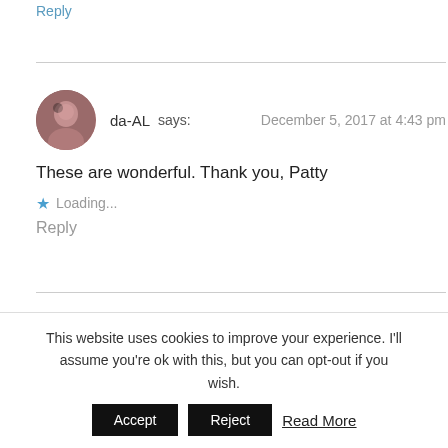Reply
da-AL says:   December 5, 2017 at 4:43 pm
These are wonderful. Thank you, Patty
Loading...
Reply
Patty says:   December 5, 2017 at 4:52 pm
My pleasure, Daal 🙂
This website uses cookies to improve your experience. I'll assume you're ok with this, but you can opt-out if you wish.